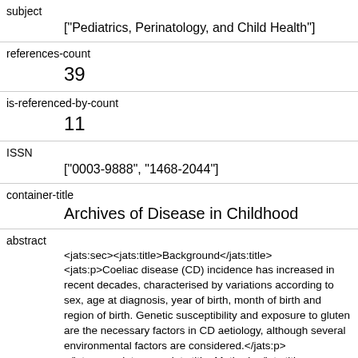subject
["Pediatrics, Perinatology, and Child Health"]
references-count
39
is-referenced-by-count
11
ISSN
["0003-9888", "1468-2044"]
container-title
Archives of Disease in Childhood
abstract
<jats:sec><jats:title>Background</jats:title><jats:p>Coeliac disease (CD) incidence has increased in recent decades, characterised by variations according to sex, age at diagnosis, year of birth, month of birth and region of birth. Genetic susceptibility and exposure to gluten are the necessary factors in CD aetiology, although several environmental factors are considered.</jats:p></jats:sec><jats:sec><jats:title>Methods</jats:title>